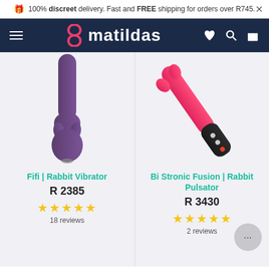100% discreet delivery. Fast and FREE shipping for orders over R745.
matildas
[Figure (photo): Purple Fifi Rabbit Vibrator product image on light background]
Fifi | Rabbit Vibrator
R 2385
★★★★★ 18 reviews
[Figure (photo): Pink/red Bi Stronic Fusion Rabbit Pulsator product image with black handle on light background]
Bi Stronic Fusion | Rabbit Pulsator
R 3430
★★★★★ 2 reviews